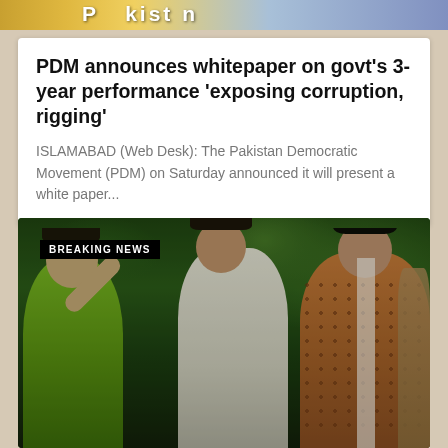[Figure (photo): Partial banner image showing the word 'Pakistan' with decorative background, cropped at top of page]
PDM announces whitepaper on govt's 3-year performance 'exposing corruption, rigging'
ISLAMABAD (Web Desk): The Pakistan Democratic Movement (PDM) on Saturday announced it will present a white paper...
[Figure (photo): Breaking news video still showing people in a crowd, with a 'BREAKING NEWS' badge overlay in the upper left. A woman in green clothing is visible on the left side.]